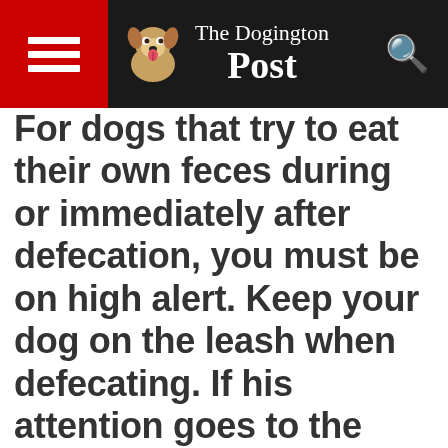The Dogington Post
For dogs that try to eat their own feces during or immediately after defecation, you must be on high alert. Keep your dog on the leash when defecating. If his attention goes to the feces, immediately turn his attention to you (try teaching the “look” command). Reward him